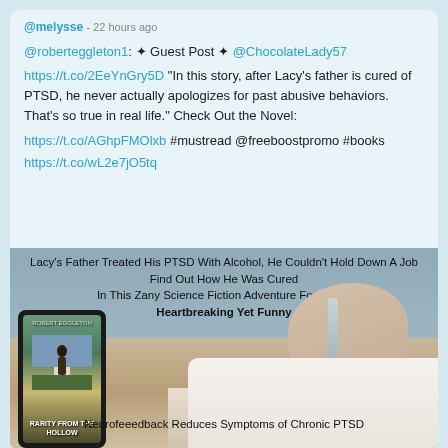@melysse - 22 hours ago
@roberteggleton1: ✦ Guest Post ✦ @ChocolateLady57
https://t.co/2EeYnGry5D "In this story, after Lacy's father is cured of PTSD, he never actually apologizes for past abusive behaviors. That's so true in real life." Check Out the Novel:
https://t.co/AGhpFMOlxb #mustread @freeboostpromo #books
https://t.co/wL2e7jO5tq
[Figure (photo): Book promotional image showing a bald man slumped on a table with a bottle, alongside a tablet displaying the book cover of 'Rarity From The Hollow' by Robert Eggleton. Text overlays describe PTSD themes and neurofeedback treatment.]